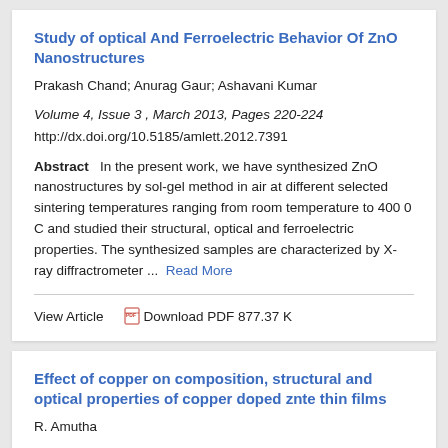Study of optical And Ferroelectric Behavior Of ZnO Nanostructures
Prakash Chand; Anurag Gaur; Ashavani Kumar
Volume 4, Issue 3 , March 2013, Pages 220-224
http://dx.doi.org/10.5185/amlett.2012.7391
Abstract   In the present work, we have synthesized ZnO nanostructures by sol-gel method in air at different selected sintering temperatures ranging from room temperature to 400 0 C and studied their structural, optical and ferroelectric properties. The synthesized samples are characterized by X-ray diffractrometer ...  Read More
View Article   Download PDF 877.37 K
Effect of copper on composition, structural and optical properties of copper doped znte thin films
R. Amutha